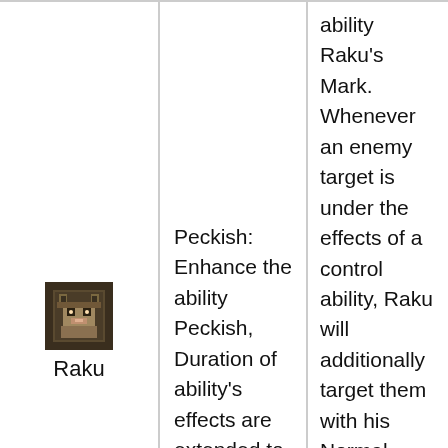[Figure (photo): Small avatar image of Raku character (wolf/fox-like creature)]
Raku
Peckish: Enhance the ability Peckish, Duration of ability's effects are extended to 10 seconds.
ability Raku's Mark. Whenever an enemy target is under the effects of a control ability, Raku will additionally target them with his Normal Attack over